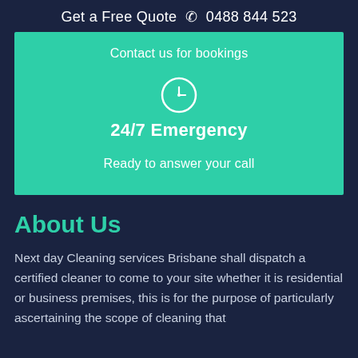Get a Free Quote ☎ 0488 844 523
Contact us for bookings
[Figure (illustration): Clock icon inside a circle, white outline on teal background]
24/7 Emergency
Ready to answer your call
About Us
Next day Cleaning services Brisbane shall dispatch a certified cleaner to come to your site whether it is residential or business premises, this is for the purpose of particularly ascertaining the scope of cleaning that